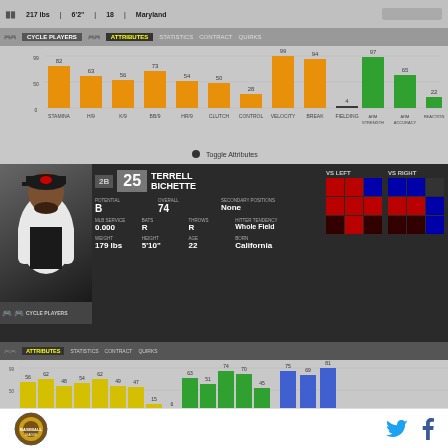217 lbs | 6'2" | 18 | Maryland
CYCLE PLAYERS | ATTRIBUTES | STATISTICS | CONTRACT | QUIRKS
[Figure (bar-chart): Player Attributes Top Chart]
[Figure (infographic): Player card for Terrell Bichette, 2B #25. Potential B, Overall 74, Secondary Positions None. MLB Service 0.000, Bats R, Throws R, Hitter Tendency Whole Field. Weight 179 lbs, Height 5'10", Age 22, Born California. Hot/cold zone grids for VS LEFT and VS RIGHT.]
[Figure (bar-chart): Player Attributes Bottom Chart]
[Figure (logo): Baseball league logo circle]
[Figure (other): Twitter and Facebook social media icons]